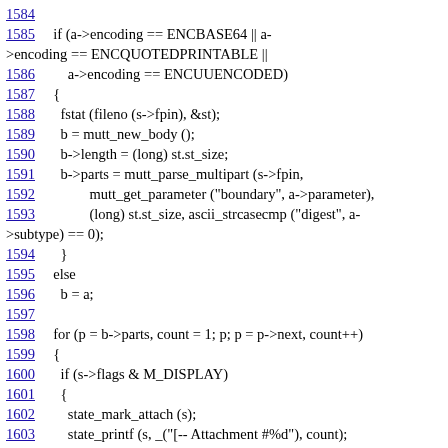1584
1585  if (a->encoding == ENCBASE64 || a->encoding == ENCQUOTEDPRINTABLE ||
1586      a->encoding == ENCUUENCODED)
1587  {
1588    fstat (fileno (s->fpin), &st);
1589    b = mutt_new_body ();
1590    b->length = (long) st.st_size;
1591    b->parts = mutt_parse_multipart (s->fpin,
1592            mutt_get_parameter ("boundary", a->parameter),
1593            (long) st.st_size, ascii_strcasecmp ("digest", a->subtype) == 0);
1594  }
1595  else
1596    b = a;
1597
1598  for (p = b->parts, count = 1; p; p = p->next, count++)
1599  {
1600    if (s->flags & M_DISPLAY)
1601    {
1602      state_mark_attach (s);
1603      state_printf (s, _("[-- Attachment #%d"), count);
1604      if (p->description || p->filename || p->form_name)
1605      {
1606        state_puts (": ", s);